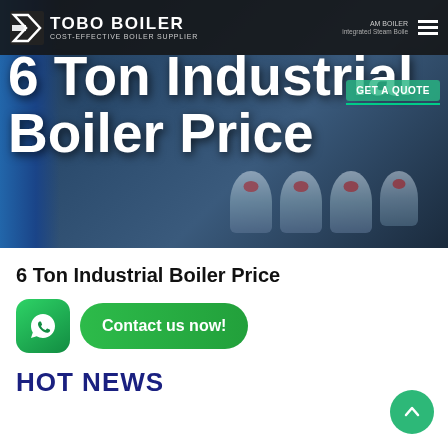[Figure (screenshot): TOBO BOILER website header/hero section showing industrial boilers in a dark industrial setting with navigation bar at top]
TOBO BOILER | COST-EFFECTIVE BOILER SUPPLIER
6 Ton Industrial Boiler Price
6 Ton Industrial Boiler Price
Contact us now!
HOT NEWS